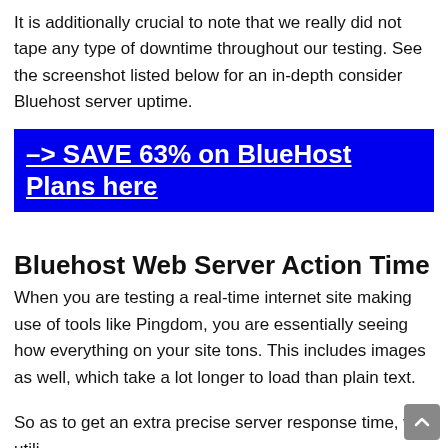It is additionally crucial to note that we really did not tape any type of downtime throughout our testing. See the screenshot listed below for an in-depth consider Bluehost server uptime.
–> SAVE 63% on BlueHost Plans here
Bluehost Web Server Action Time
When you are testing a real-time internet site making use of tools like Pingdom, you are essentially seeing how everything on your site tons. This includes images as well, which take a lot longer to load than plain text.
So as to get an extra precise server response time, we utili…